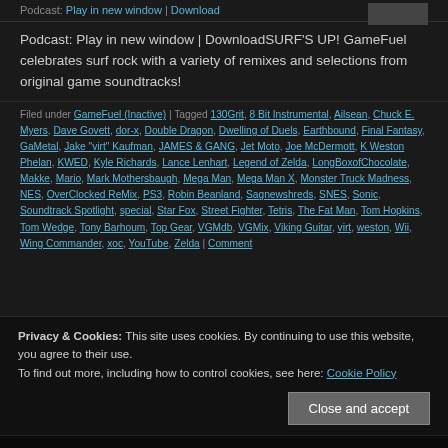Podcast: Play in new window | Download
Podcast: Play in new window | DownloadSURF'S UP! GameFuel celebrates surf rock with a variety of remixes and selections from original game soundtracks!
Filed under GameFuel (Inactive) | Tagged 130Grit, 8 Bit Instrumental, Ailsean, Chuck E. Myers, Dave Govett, dor-x, Double Dragon, Dwelling of Duels, Earthbound, Final Fantasy, GaMetal, Jake "virt" Kaufman, JAMES & GANG, Jet Moto, Joe McDermott, K Weston Phelan, KWED, Kyle Richards, Lance Lenhart, Legend of Zelda, LongBoxofChocolate, Makke, Mario, Mark Mothersbaugh, Mega Man, Mega Man X, Monster Truck Madness, NES, OverClocked ReMix, PS3, Robin Beanland, Sagnewshreds, SNES, Sonic, Soundtrack Spotlight, special, Star Fox, Street Fighter, Tetris, The Fat Man, Tom Hopkins, Tom Wedge, Tony Barhoum, Top Gear, VGMdb, VGMix, Viking Guitar, virt, weston, Wii, Wing Commander, xoc, YouTube, Zelda | Comment
Privacy & Cookies: This site uses cookies. By continuing to use this website, you agree to their use.
To find out more, including how to control cookies, see here: Cookie Policy